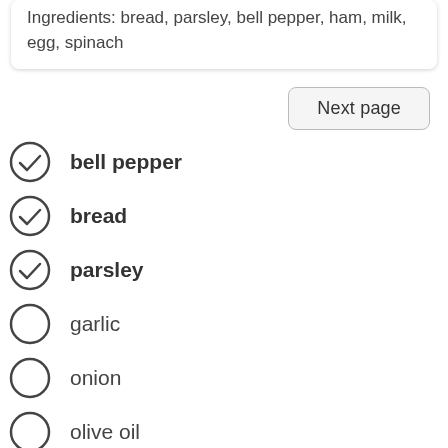Ingredients: bread, parsley, bell pepper, ham, milk, egg, spinach
bell pepper (checked)
bread (checked)
parsley (checked)
garlic (unchecked)
onion (unchecked)
olive oil (unchecked)